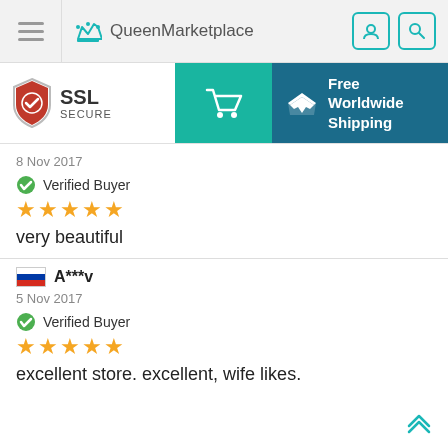QueenMarketplace
[Figure (screenshot): SSL Secure badge, cart button (teal), and Free Worldwide Shipping banner (dark blue)]
8 Nov 2017
Verified Buyer
★★★★★
very beautiful
A***v
5 Nov 2017
Verified Buyer
★★★★★
excellent store. excellent, wife likes.